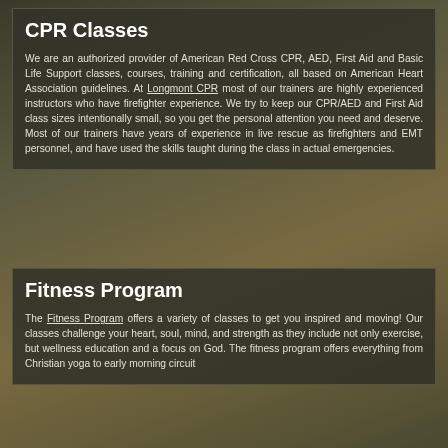CPR Classes
We are an authorized provider of American Red Cross CPR, AED, First Aid and Basic Life Support classes, courses, training and certification, all based on American Heart Association guidelines. At Longmont CPR most of our trainers are highly experienced instructors who have firefighter experience. We try to keep our CPR/AED and First Aid class sizes intentionally small, so you get the personal attention you need and deserve. Most of our trainers have years of experience in live rescue as firefighters and EMT personnel, and have used the skills taught during the class in actual emergencies.
Fitness Program
The Fitness Program offers a variety of classes to get you inspired and moving! Our classes challenge your heart, soul, mind, and strength as they include not only exercise, but wellness education and a focus on God. The fitness program offers everything from Christian yoga to early morning circuit